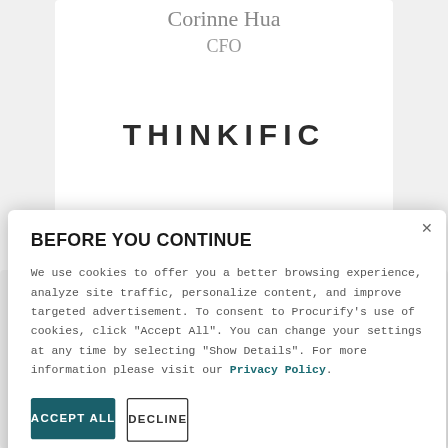Corinne Hua
CFO
[Figure (logo): THINKIFIC logo in bold spaced lettering]
BEFORE YOU CONTINUE
We use cookies to offer you a better browsing experience, analyze site traffic, personalize content, and improve targeted advertisement. To consent to Procurify's use of cookies, click "Accept All". You can change your settings at any time by selecting "Show Details". For more information please visit our Privacy Policy.
ACCEPT ALL
DECLINE
SHOW DETAILS
Sekhon
Senior Director of Finance